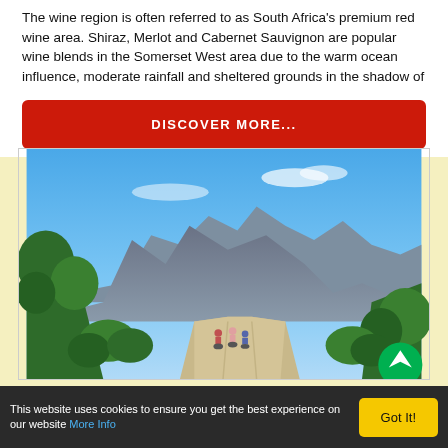The wine region is often referred to as South Africa's premium red wine area. Shiraz, Merlot and Cabernet Sauvignon are popular wine blends in the Somerset West area due to the warm ocean influence, moderate rainfall and sheltered grounds in the shadow of
[Figure (other): Red button with white bold uppercase text 'DISCOVER MORE...']
[Figure (photo): Cyclists riding along a gravel dirt road through lush green vegetation with dramatic rocky mountain peaks under a clear blue sky, South Africa landscape.]
This website uses cookies to ensure you get the best experience on our website More Info
Got It!